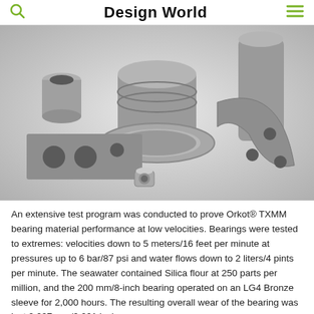Design World
[Figure (photo): Collection of grey composite bearing components including cylindrical bushings, flat pads, rings, and a curved segment arranged on a white background. Parts appear to be Orkot TXMM bearing material in various shapes and sizes.]
An extensive test program was conducted to prove Orkot® TXMM bearing material performance at low velocities. Bearings were tested to extremes: velocities down to 5 meters/16 feet per minute at pressures up to 6 bar/87 psi and water flows down to 2 liters/4 pints per minute. The seawater contained Silica flour at 250 parts per million, and the 200 mm/8-inch bearing operated on an LG4 Bronze sleeve for 2,000 hours. The resulting overall wear of the bearing was just 0.027 mm/0.001 inch